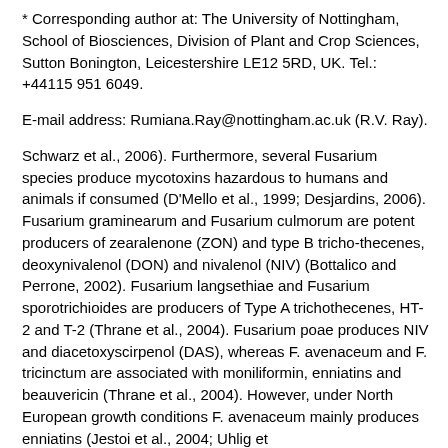* Corresponding author at: The University of Nottingham, School of Biosciences, Division of Plant and Crop Sciences, Sutton Bonington, Leicestershire LE12 5RD, UK. Tel.: +44115 951 6049.
E-mail address: Rumiana.Ray@nottingham.ac.uk (R.V. Ray).
Schwarz et al., 2006). Furthermore, several Fusarium species produce mycotoxins hazardous to humans and animals if consumed (D'Mello et al., 1999; Desjardins, 2006). Fusarium graminearum and Fusarium culmorum are potent producers of zearalenone (ZON) and type B tricho-thecenes, deoxynivalenol (DON) and nivalenol (NIV) (Bottalico and Perrone, 2002). Fusarium langsethiae and Fusarium sporotrichioides are producers of Type A trichothecenes, HT-2 and T-2 (Thrane et al., 2004). Fusarium poae produces NIV and diacetoxyscirpenol (DAS), whereas F. avenaceum and F. tricinctum are associated with moniliformin, enniatins and beauvericin (Thrane et al., 2004). However, under North European growth conditions F. avenaceum mainly produces enniatins (Jestoi et al., 2004; Uhlig et